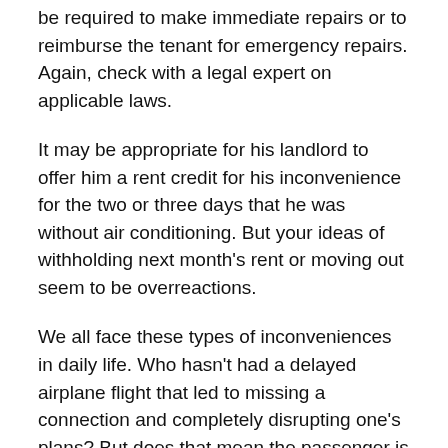be required to make immediate repairs or to reimburse the tenant for emergency repairs. Again, check with a legal expert on applicable laws.
It may be appropriate for his landlord to offer him a rent credit for his inconvenience for the two or three days that he was without air conditioning. But your ideas of withholding next month's rent or moving out seem to be overreactions.
We all face these types of inconveniences in daily life. Who hasn't had a delayed airplane flight that led to missing a connection and completely disrupting one's plans? But does that mean the passenger is entitled to a full refund? I know with my health insurance plan it can take days to get in to see someone and in the meantime I am in pain and have to limit my activities. But I certainly